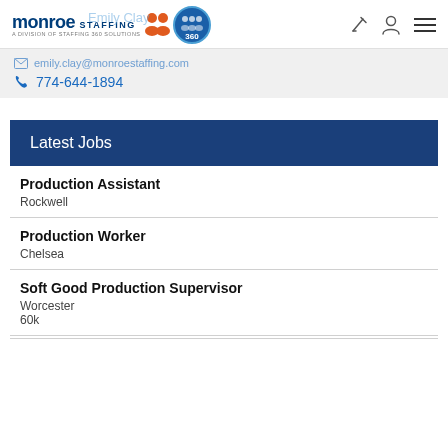[Figure (logo): Monroe Staffing logo with orange person icons and 360 blue circle badge. Text reads 'monroe STAFFING' and 'A DIVISION OF STAFFING 360 SOLUTIONS'.]
774-644-1894
Latest Jobs
Production Assistant
Rockwell
Production Worker
Chelsea
Soft Good Production Supervisor
Worcester
60k